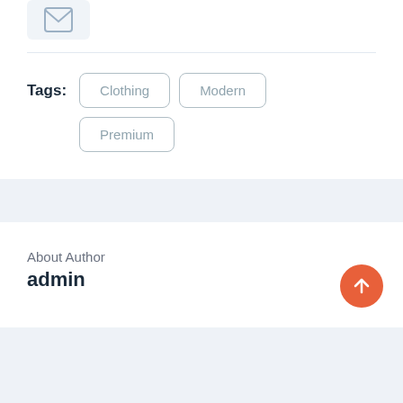[Figure (illustration): Small envelope/mail icon inside a light grey rounded box]
Tags:  Clothing  Modern  Premium
About Author
admin
[Figure (illustration): Orange circular scroll-to-top button with upward arrow]